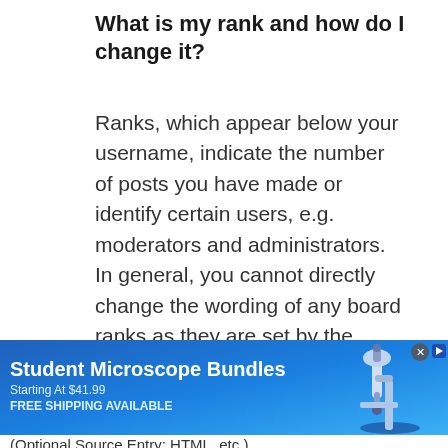What is my rank and how do I change it?
Ranks, which appear below your username, indicate the number of posts you have made or identify certain users, e.g. moderators and administrators. In general, you cannot directly change the wording of any board ranks as they are set by the board administrator. Please do not abuse the board by posting
[Figure (infographic): Advertisement banner for Student Microscope Bundles, Starting At $41.99, FREE SHIPPING AVAILABLE, with microscope image on the right side and a blue gradient background.]
(Optional Source Entry: HTML, etc.) ...